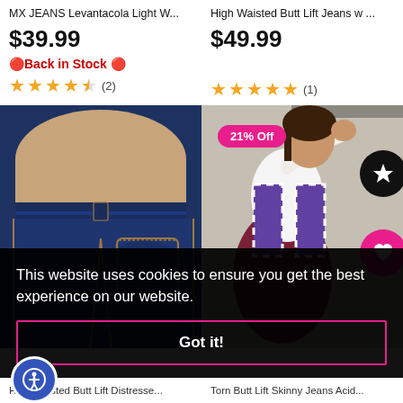MX JEANS Levantacola Light W...
$39.99
🔴Back in Stock 🔴
★★★★☆ (2)
High Waisted Butt Lift Jeans w ...
$49.99
★★★★★ (1)
[Figure (photo): Close-up photo of dark blue high-waisted butt lift jeans, back view]
[Figure (photo): Photo of woman in white top and plaid shirt sitting against wall, with 21% Off badge]
This website uses cookies to ensure you get the best experience on our website.
Got it!
High Waisted Butt Lift Distresse...
Torn Butt Lift Skinny Jeans Acid...